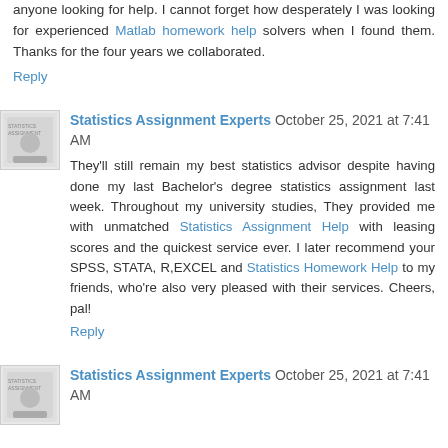anyone looking for help. I cannot forget how desperately I was looking for experienced Matlab homework help solvers when I found them. Thanks for the four years we collaborated.
Reply
Statistics Assignment Experts  October 25, 2021 at 7:41 AM
They'll still remain my best statistics advisor despite having done my last Bachelor's degree statistics assignment last week. Throughout my university studies, They provided me with unmatched Statistics Assignment Help with leasing scores and the quickest service ever. I later recommend your SPSS, STATA, R,EXCEL and Statistics Homework Help to my friends, who're also very pleased with their services. Cheers, pal!
Reply
Statistics Assignment Experts  October 25, 2021 at 7:41 AM